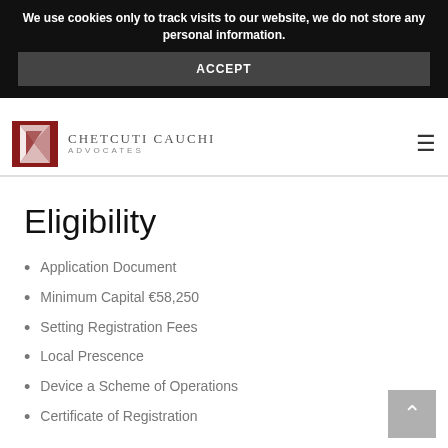We use cookies only to track visits to our website, we do not store any personal information.
ACCEPT
CHETCUTI CAUCHI ADVOCATES
Eligibility
Application Document
Minimum Capital €58,250
Setting Registration Fees
Local Prescence
Device a Scheme of Operations
Certificate of Registration